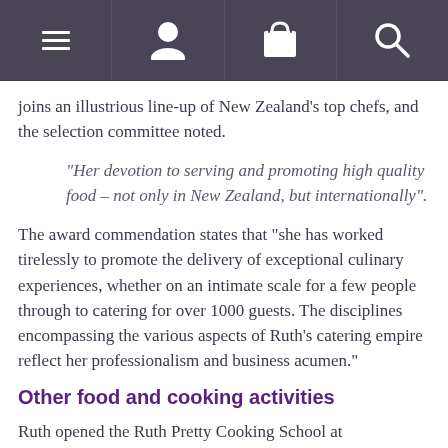[Navigation bar with menu, profile, bag, and search icons]
joins an illustrious line-up of New Zealand's top chefs, and the selection committee noted.
"Her devotion to serving and promoting high quality food – not only in New Zealand, but internationally".
The award commendation states that "she has worked tirelessly to promote the delivery of exceptional culinary experiences, whether on an intimate scale for a few people through to catering for over 1000 guests. The disciplines encompassing the various aspects of Ruth's catering empire reflect her professionalism and business acumen."
Other food and cooking activities
Ruth opened the Ruth Pretty Cooking School at